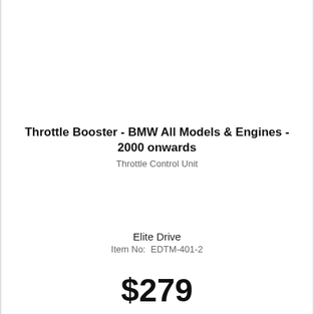Throttle Booster - BMW All Models & Engines - 2000 onwards
Throttle Control Unit
Elite Drive
Item No:  EDTM-401-2
$279
Make 4 interest-free payments of $69.75 fortnightly and receive your order now.